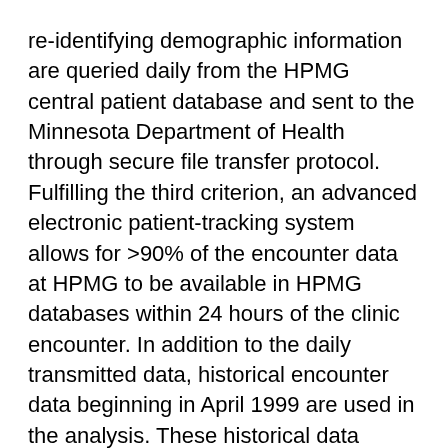re-identifying demographic information are queried daily from the HPMG central patient database and sent to the Minnesota Department of Health through secure file transfer protocol. Fulfilling the third criterion, an advanced electronic patient-tracking system allows for >90% of the encounter data at HPMG to be available in HPMG databases within 24 hours of the clinic encounter. In addition to the daily transmitted data, historical encounter data beginning in April 1999 are used in the analysis. These historical data represent a consistently insured population within the clinic network with minimal immigration into or emigration from the HPMG network, thus satisfying the fourth criterion for this type of autoregressive time-series analysis. Had HPMG experienced substantial changes in its insured population, the underlying statistical assumptions necessary for this analysis would have been violated